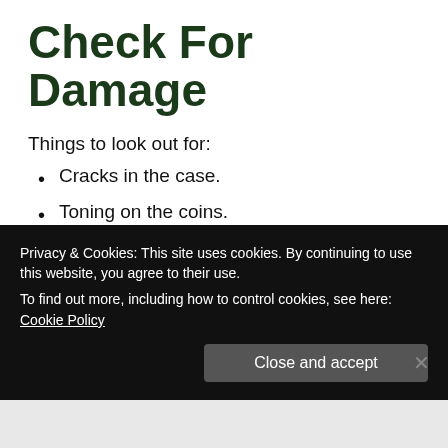Check For Damage
Things to look out for:
Cracks in the case.
Toning on the coins.
Misaligned coins.
Cracks in the case are bad because they ruin the
Privacy & Cookies: This site uses cookies. By continuing to use this website, you agree to their use.
To find out more, including how to control cookies, see here: Cookie Policy